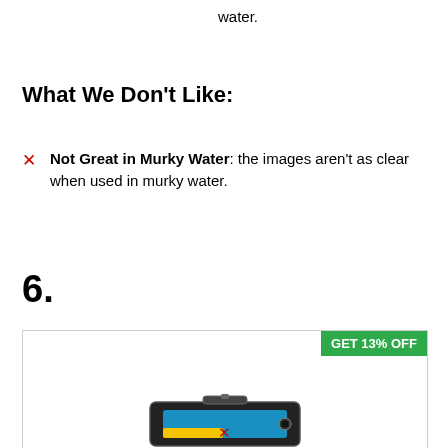water.
What We Don't Like:
Not Great in Murky Water: the images aren't as clear when used in murky water.
6.
[Figure (photo): Product image of a waterproof underwater camera/device with a GET 13% OFF badge in the top right corner of the box.]